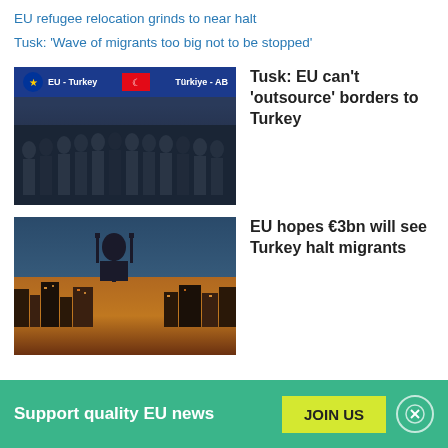EU refugee relocation grinds to near halt
Tusk: 'Wave of migrants too big not to be stopped'
[Figure (photo): EU-Turkey summit group photo with officials standing in front of EU and Turkish flags banner]
Tusk: EU can't 'outsource' borders to Turkey
[Figure (photo): Aerial nighttime view of Istanbul city with illuminated buildings and mosque silhouette]
EU hopes €3bn will see Turkey halt migrants
Support quality EU news
JOIN US